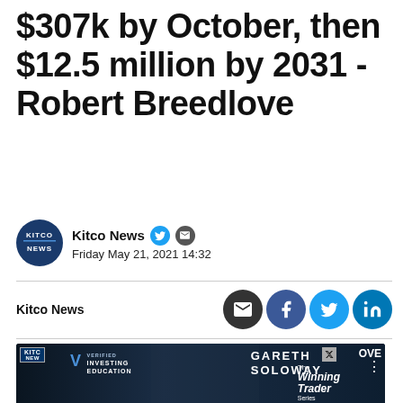$307k by October, then $12.5 million by 2031 - Robert Breedlove
Kitco News  Friday May 21, 2021 14:32
Kitco News
[Figure (screenshot): Video thumbnail showing Gareth Soloway - VERIFIED INVESTING EDUCATION - The Winning Trader Series advertisement on Kitco News]